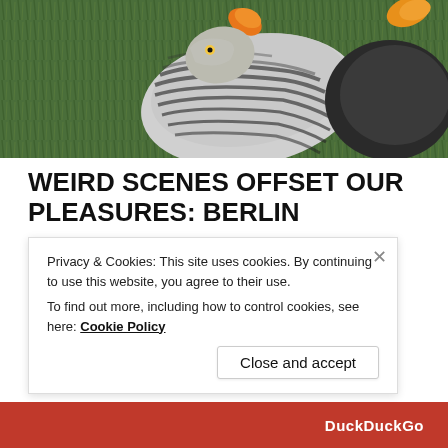[Figure (photo): Close-up photo of a bird with striped black and white feathers lying on grass with autumn leaves]
WEIRD SCENES OFFSET OUR PLEASURES: BERLIN
OCTOBER 23, 2019
On the way home from riding with Daughter to school, this
Privacy & Cookies: This site uses cookies. By continuing to use this website, you agree to their use.
To find out more, including how to control cookies, see here: Cookie Policy
Close and accept